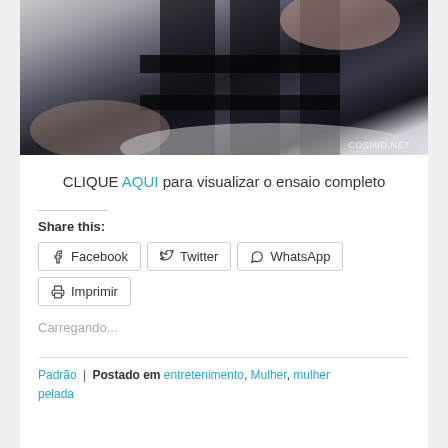[Figure (photo): Cropped photo of a person wearing black stockings/garters with watermark COSMID.NET in bottom right corner]
CLIQUE AQUI para visualizar o ensaio completo
Share this:
Facebook | Twitter | WhatsApp
Imprimir
Carregando...
Padrão | Postado em entretenimento, Mulher, mulher pelada | Comentários: Mulher com meias arrastão | S...